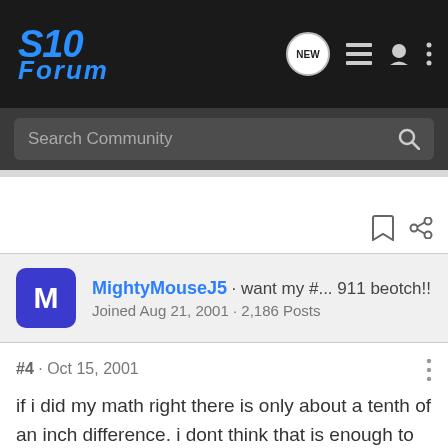[Figure (screenshot): S10 Forum logo with blue stylized text on dark background]
S10 Forum — Search Community — navigation icons
MightyMouseJ5 · want my #... 911 beotch!! Joined Aug 21, 2001 · 2,186 Posts
#4 · Oct 15, 2001
if i did my math right there is only about a tenth of an inch difference. i dont think that is enough to cause a big difference in fuel economy.